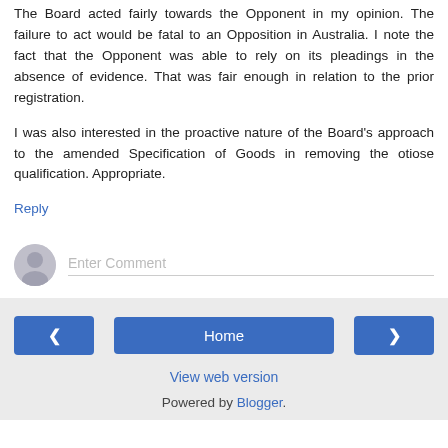The Board acted fairly towards the Opponent in my opinion. The failure to act would be fatal to an Opposition in Australia. I note the fact that the Opponent was able to rely on its pleadings in the absence of evidence. That was fair enough in relation to the prior registration.
I was also interested in the proactive nature of the Board's approach to the amended Specification of Goods in removing the otiose qualification. Appropriate.
Reply
[Figure (other): Avatar icon placeholder for comment entry, grey circle with person silhouette]
Enter Comment
< Home > View web version Powered by Blogger.